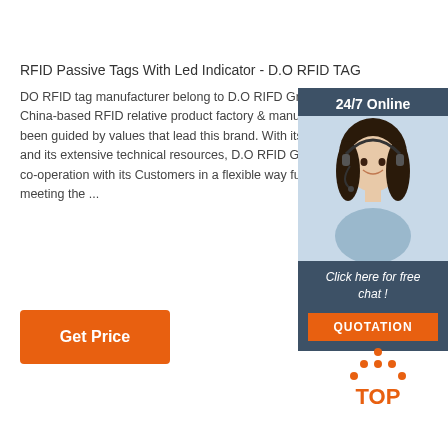RFID Passive Tags With Led Indicator - D.O RFID TAG
DO RFID tag manufacturer belong to D.O RIFD Group, China-based RFID relative product factory & manufacturer, been guided by values that lead this brand. With its and its extensive technical resources, D.O RFID Group co-operation with its Customers in a flexible way full meeting the ...
[Figure (photo): Customer service representative woman wearing headset, with 24/7 Online label, Click here for free chat text, and QUOTATION button on dark blue background widget]
Get Price
[Figure (logo): TOP logo with orange dot pattern above orange text TOP]